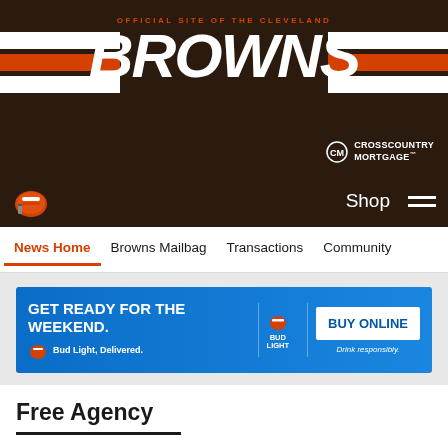[Figure (logo): Cleveland Browns official site header banner with BROWNS text, stripes, and CrossCountry Mortgage sponsor logo]
Shop (navigation bar with hamburger menu and Browns helmet logo)
News Home | Browns Mailbag | Transactions | Community
[Figure (infographic): Bud Light advertisement banner: GET READY FOR THE WEEKEND. Bud Light, Delivered. BUY ONLINE. Drink responsibly.]
Free Agency
Presented By BUD LIGHT.
[Figure (infographic): Social media share icons: Facebook, Twitter, Email, Link]